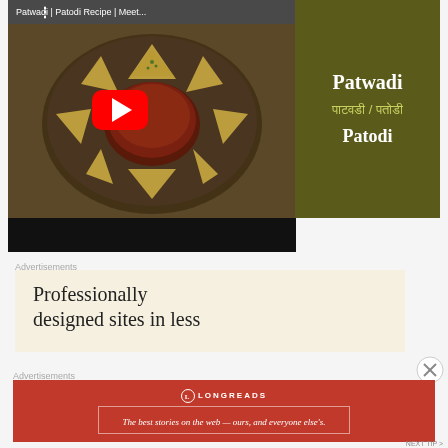[Figure (screenshot): YouTube video thumbnail showing Patwadi/Patodi recipe with dish photo on left and title text on right panel. Video title bar reads 'Patwadi | Patodi Recipe | Meet...' with red YouTube play button overlay.]
Advertisements
[Figure (screenshot): Advertisement banner with cream/beige background showing text 'Professionally designed sites in less']
Advertisements
[Figure (screenshot): Longreads advertisement banner with red background showing logo and text 'The best stories on the web — ours, and everyone else's.']